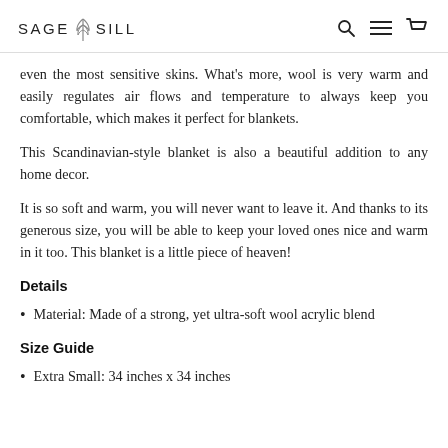SAGE SILL
even the most sensitive skins. What's more, wool is very warm and easily regulates air flows and temperature to always keep you comfortable, which makes it perfect for blankets.
This Scandinavian-style blanket is also a beautiful addition to any home decor.
It is so soft and warm, you will never want to leave it. And thanks to its generous size, you will be able to keep your loved ones nice and warm in it too. This blanket is a little piece of heaven!
Details
Material: Made of a strong, yet ultra-soft wool acrylic blend
Size Guide
Extra Small: 34 inches x 34 inches